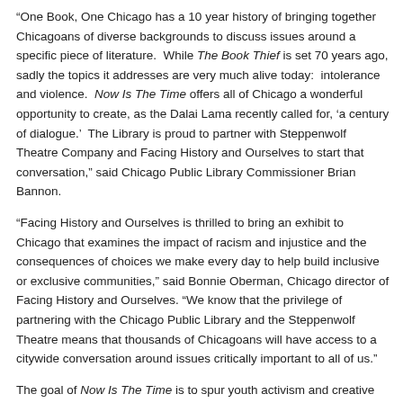“One Book, One Chicago has a 10 year history of bringing together Chicagoans of diverse backgrounds to discuss issues around a specific piece of literature.  While The Book Thief is set 70 years ago, sadly the topics it addresses are very much alive today:  intolerance and violence.  Now Is The Time offers all of Chicago a wonderful opportunity to create, as the Dalai Lama recently called for, ‘a century of dialogue.’  The Library is proud to partner with Steppenwolf Theatre Company and Facing History and Ourselves to start that conversation,” said Chicago Public Library Commissioner Brian Bannon.
"Facing History and Ourselves is thrilled to bring an exhibit to Chicago that examines the impact of racism and injustice and the consequences of choices we make every day to help build inclusive or exclusive communities," said Bonnie Oberman, Chicago director of Facing History and Ourselves. “We know that the privilege of partnering with the Chicago Public Library and the Steppenwolf Theatre means that thousands of Chicagoans will have access to a citywide conversation around issues critically important to all of us."
The goal of Now Is The Time is to spur youth activism and creative self-expression around the themes of social responsibility and civic engagement. Youth involved in NITT will participate in skill-building around their interests such as design, spoken word, music, film, writing, performance and digital media creation which they can share with fellow citizens via the Now Is The Time website. Participating youth will be better prepared for the demands of citizenship by being supported to think critically, to empathize, to recognize moral choices, and to make their voices heard.